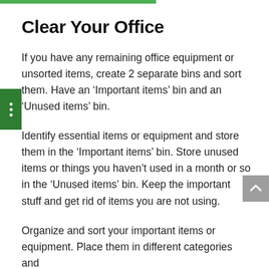Clear Your Office
If you have any remaining office equipment or unsorted items, create 2 separate bins and sort them. Have an ‘Important items’ bin and an ‘Unused items’ bin.
Identify essential items or equipment and store them in the ‘Important items’ bin. Store unused items or things you haven’t used in a month or so in the ‘Unused items’ bin. Keep the important stuff and get rid of items you are not using.
Organize and sort your important items or equipment. Place them in different categories and